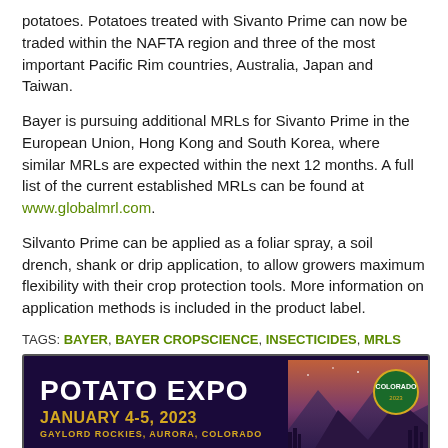potatoes. Potatoes treated with Sivanto Prime can now be traded within the NAFTA region and three of the most important Pacific Rim countries, Australia, Japan and Taiwan.
Bayer is pursuing additional MRLs for Sivanto Prime in the European Union, Hong Kong and South Korea, where similar MRLs are expected within the next 12 months. A full list of the current established MRLs can be found at www.globalmrl.com.
Silvanto Prime can be applied as a foliar spray, a soil drench, shank or drip application, to allow growers maximum flexibility with their crop protection tools. More information on application methods is included in the product label.
TAGS: BAYER, BAYER CROPSCIENCE, INSECTICIDES, MRLS
[Figure (illustration): Potato Expo advertisement banner: January 4-5, 2023, Gaylord Rockies, Aurora, Colorado. Dark purple/navy background with mountain scenery and Colorado branding badge.]